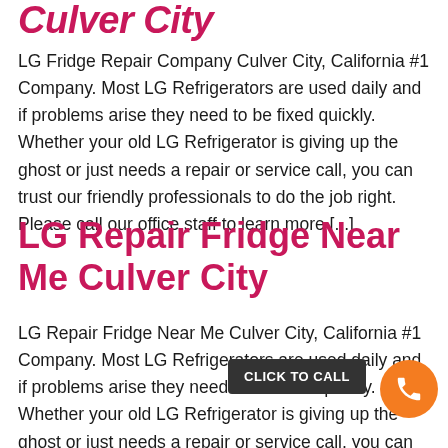Culver City
LG Fridge Repair Company Culver City, California #1 Company. Most LG Refrigerators are used daily and if problems arise they need to be fixed quickly. Whether your old LG Refrigerator is giving up the ghost or just needs a repair or service call, you can trust our friendly professionals to do the job right. Please call our office staff to learn more [...]
LG Repair Fridge Near Me Culver City
LG Repair Fridge Near Me Culver City, California #1 Company. Most LG Refrigerators are used daily and if problems arise they need to be fixed quickly. Whether your old LG Refrigerator is giving up the ghost or just needs a repair or service call, you can trust our friendly professionals to do the job right. Please call